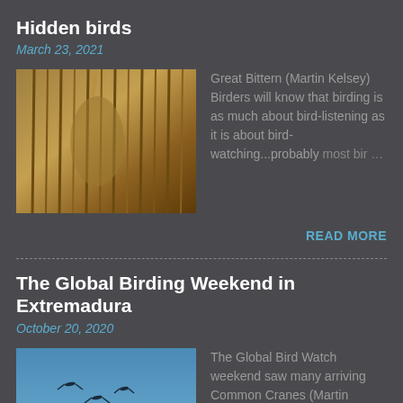Hidden birds
March 23, 2021
[Figure (photo): Photo of a Great Bittern hidden among marsh reeds]
Great Bittern (Martin Kelsey) Birders will know that birding is as much about bird-listening as it is about bird-watching...probably most bir…
READ MORE
The Global Birding Weekend in Extremadura
October 20, 2020
[Figure (photo): Photo of Common Cranes in flight against a blue sky]
The Global Bird Watch weekend saw many arriving Common Cranes (Martin Kelsey) October is often considered a bit of an in…
READ MORE